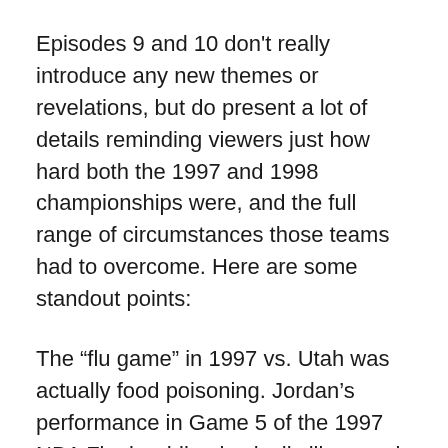Episodes 9 and 10 don't really introduce any new themes or revelations, but do present a lot of details reminding viewers just how hard both the 1997 and 1998 championships were, and the full range of circumstances those teams had to overcome. Here are some standout points:
The “flu game” in 1997 vs. Utah was actually food poisoning. Jordan’s performance in Game 5 of the 1997 NBA Finals while physically ill can only be characterized as super-human. Episode 9 lays out the full story that the real issue was a bad pizza that caused Jordan food poisoning. Jordan shouldn’t have played in the game, but did anyway. Overcoming a slow start, Jordan score 38 points on 13-27 shooting, including the go-ahead 3 point shot with 25 seconds left to give the Bulls a 3-2 lead.